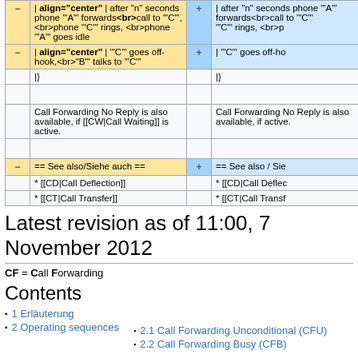| − | | align="center" | after "n" seconds phone '"A"' forwards<br>call to '"C"',<br>phone '"C"' rings, <br>phone '"A"' goes idle | + | | after "n" seconds phone '"A"' forwards<br>call to '"C"'<br>'"C"' rings, <br>p |
| − | | align="center" | '"C"' goes off-hook,<br>'"B"' talks to '"C"' | + | | '"C"' goes off-ho |
|  | |} |  | |} |
|  |  |  |  |
|  | Call Forwarding No Reply is also available, if [[CW|Call Waiting]] is active. |  | Call Forwarding No Reply is also available, if active. |
|  |  |  |  |
| − | == See also/Siehe auch == | + | == See also / Sie |
|  | * [[CD|Call Deflection]] |  | * [[CD|Call Deflec |
|  | * [[CT|Call Transfer]] |  | * [[CT|Call Transf |
Latest revision as of 11:00, 7 November 2012
CF = Call Forwarding
Contents
1 Erläuterung
2 Operating sequences
2.1 Call Forwarding Unconditional (CFU)
2.2 Call Forwarding Busy (CFB)